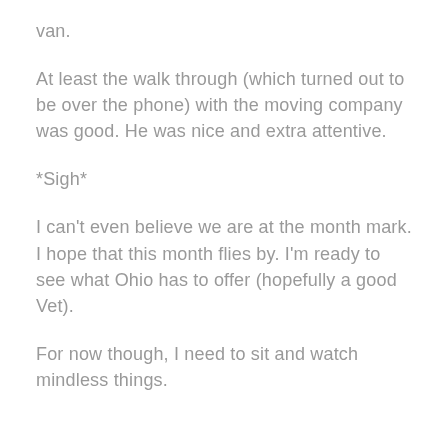van.
At least the walk through (which turned out to be over the phone) with the moving company was good. He was nice and extra attentive.
*Sigh*
I can't even believe we are at the month mark. I hope that this month flies by. I'm ready to see what Ohio has to offer (hopefully a good Vet).
For now though, I need to sit and watch mindless things.